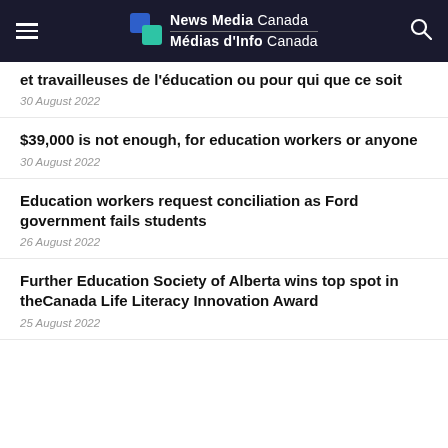News Media Canada / Médias d'Info Canada
et travailleuses de l'éducation ou pour qui que ce soit
30 August 2022
$39,000 is not enough, for education workers or anyone
30 August 2022
Education workers request conciliation as Ford government fails students
26 August 2022
Further Education Society of Alberta wins top spot in theCanada Life Literacy Innovation Award
25 August 2022